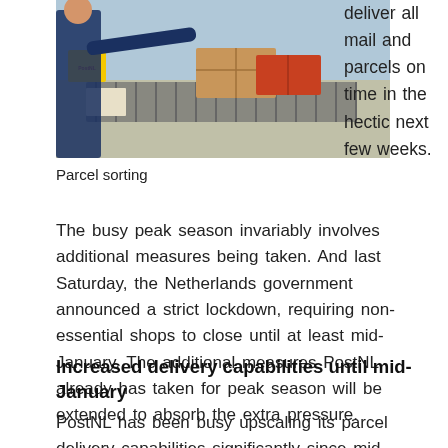[Figure (photo): A worker in a blue work outfit loading or sorting parcels on a conveyor belt system in a warehouse or sorting facility. Boxes including yellow PostNL parcels are visible on the conveyor.]
Parcel sorting
deliver all mail and parcels on time in the hectic next few weeks. The busy peak season invariably involves additional measures being taken. And last Saturday, the Netherlands government announced a strict lockdown, requiring non-essential shops to close until at least mid-January. The additional measures PostNL already has taken for peak season will be extended to absorb the extra pressure.
Increased delivery capabilities until mid-January
PostNL has been busy upscaling its parcel delivery capabilities significantly since mid-November, in the run-